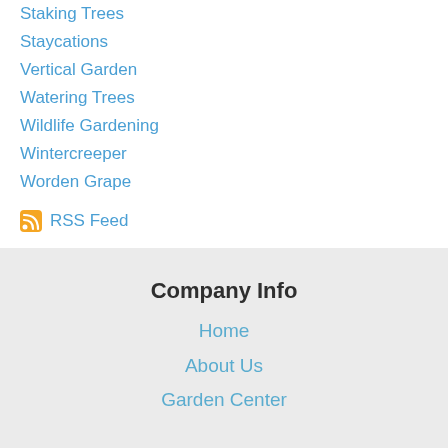Staking Trees
Staycations
Vertical Garden
Watering Trees
Wildlife Gardening
Wintercreeper
Worden Grape
RSS Feed
Company Info
Home
About Us
Garden Center
Location